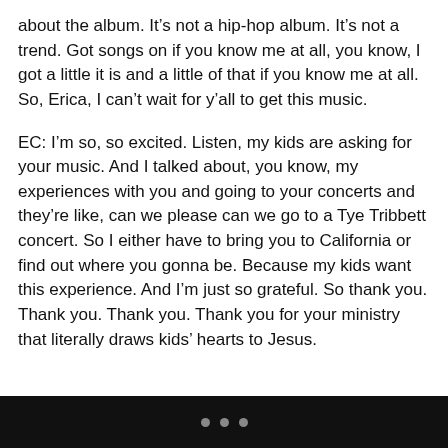about the album. It’s not a hip-hop album. It’s not a trend. Got songs on if you know me at all, you know, I got a little it is and a little of that if you know me at all. So, Erica, I can’t wait for y’all to get this music.
EC: I’m so, so excited. Listen, my kids are asking for your music. And I talked about, you know, my experiences with you and going to your concerts and they’re like, can we please can we go to a Tye Tribbett concert. So I either have to bring you to California or find out where you gonna be. Because my kids want this experience. And I’m just so grateful. So thank you. Thank you. Thank you. Thank you for your ministry that literally draws kids’ hearts to Jesus.
• • •